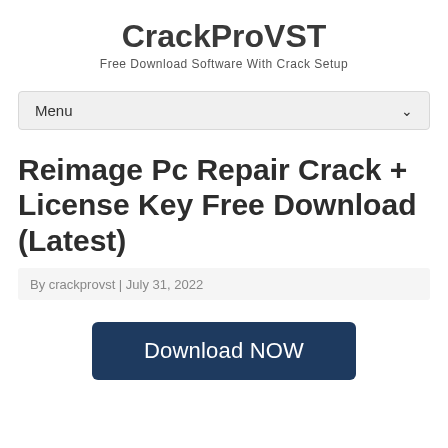CrackProVST
Free Download Software With Crack Setup
Menu
Reimage Pc Repair Crack + License Key Free Download (Latest)
By crackprovst | July 31, 2022
Download NOW